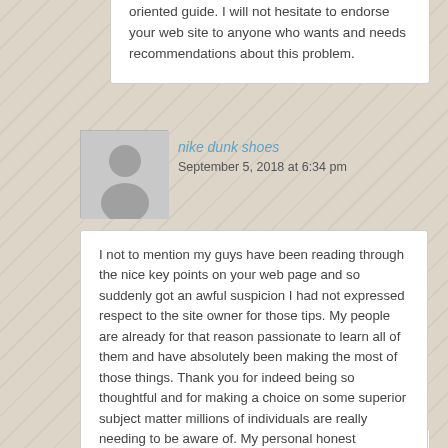oriented guide. I will not hesitate to endorse your web site to anyone who wants and needs recommendations about this problem.
nike dunk shoes
September 5, 2018 at 6:34 pm
I not to mention my guys have been reading through the nice key points on your web page and so suddenly got an awful suspicion I had not expressed respect to the site owner for those tips. My people are already for that reason passionate to learn all of them and have absolutely been making the most of those things. Thank you for indeed being so thoughtful and for making a choice on some superior subject matter millions of individuals are really needing to be aware of. My personal honest apologies for not saying thanks to earlier.